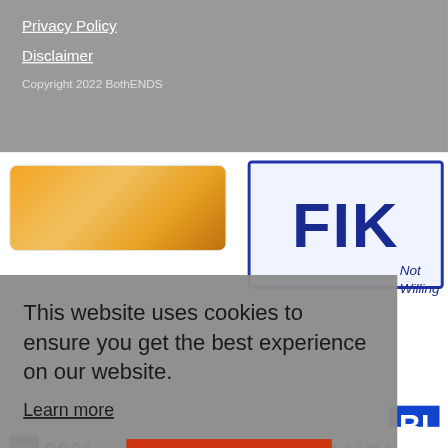Privacy Policy
Disclaimer
Copyright 2022 BothENDS
[Figure (screenshot): Website footer area showing partner logos including a golden/orange logo and FIK logo in blue and white, plus ISO 9001:2015 certification logo and ANBI logo at bottom]
This website uses cookies to ensure you get the best experience on our website.
Learn more
Decline
Allow cookies